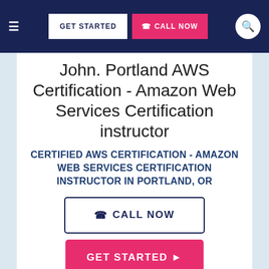≡  GET STARTED  CALL NOW  🔍
John. Portland AWS Certification - Amazon Web Services Certification instructor
CERTIFIED AWS CERTIFICATION - AMAZON WEB SERVICES CERTIFICATION INSTRUCTOR IN PORTLAND, OR
☎ CALL NOW
GET STARTED ▶
…grade, my goal is to help students fall in